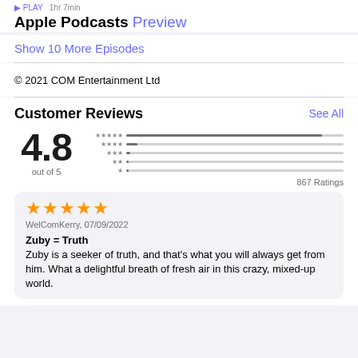Apple Podcasts Preview
Show 10 More Episodes
© 2021 COM Entertainment Ltd
Customer Reviews
4.8 out of 5
867 Ratings
★★★★★ WelComKerry, 07/09/2022
Zuby = Truth
Zuby is a seeker of truth, and that's what you will always get from him. What a delightful breath of fresh air in this crazy, mixed-up world.